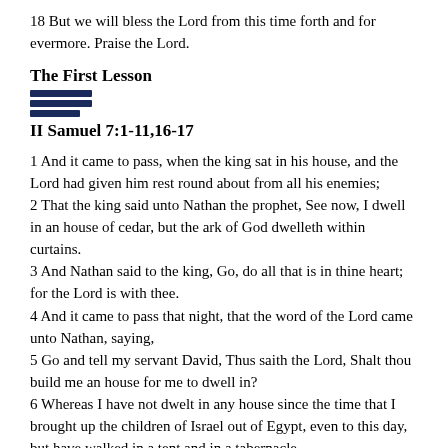18 But we will bless the Lord from this time forth and for evermore. Praise the Lord.
The First Lesson
II Samuel 7:1-11,16-17
1 And it came to pass, when the king sat in his house, and the Lord had given him rest round about from all his enemies;
2 That the king said unto Nathan the prophet, See now, I dwell in an house of cedar, but the ark of God dwelleth within curtains.
3 And Nathan said to the king, Go, do all that is in thine heart; for the Lord is with thee.
4 And it came to pass that night, that the word of the Lord came unto Nathan, saying,
5 Go and tell my servant David, Thus saith the Lord, Shalt thou build me an house for me to dwell in?
6 Whereas I have not dwelt in any house since the time that I brought up the children of Israel out of Egypt, even to this day, but have walked in a tent and in a tabernacle.
7 In all 7the places wherein I have walked with all the children of Israel spake I a word with any of the tribes of Israel, whom I